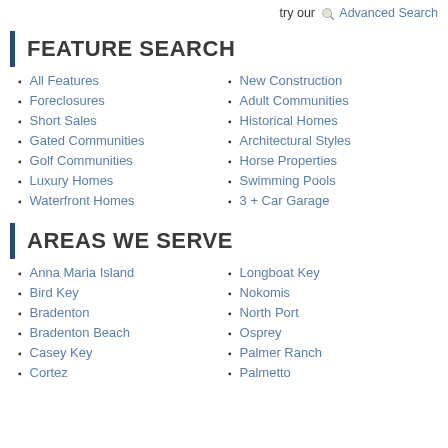try our Advanced Search
FEATURE SEARCH
All Features
Foreclosures
Short Sales
Gated Communities
Golf Communities
Luxury Homes
Waterfront Homes
New Construction
Adult Communities
Historical Homes
Architectural Styles
Horse Properties
Swimming Pools
3 + Car Garage
AREAS WE SERVE
Anna Maria Island
Bird Key
Bradenton
Bradenton Beach
Casey Key
Cortez
Longboat Key
Nokomis
North Port
Osprey
Palmer Ranch
Palmetto